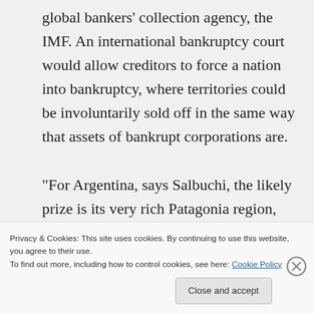global bankers' collection agency, the IMF. An international bankruptcy court would allow creditors to force a nation into bankruptcy, where territories could be involuntarily sold off in the same way that assets of bankrupt corporations are.

“For Argentina, says Salbuchi, the likely prize is its very rich Patagonia region, long a favorite settlement target for ex-pats. When Argentina suffered a massive default
Privacy & Cookies: This site uses cookies. By continuing to use this website, you agree to their use.
To find out more, including how to control cookies, see here: Cookie Policy